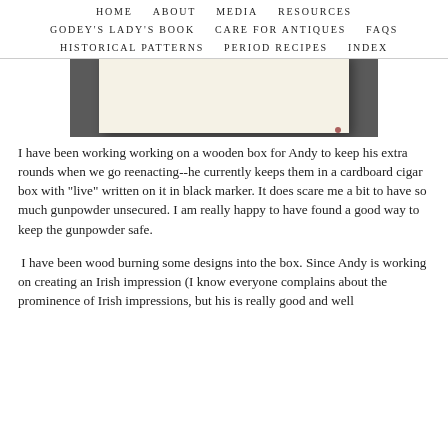HOME   ABOUT   MEDIA   RESOURCES   GODEY'S LADY'S BOOK   CARE FOR ANTIQUES   FAQS   HISTORICAL PATTERNS   PERIOD RECIPES   INDEX
[Figure (photo): A photo of a cream/ivory colored rectangular card or piece of material lying on a dark gray surface, partially visible at the top of the content area.]
I have been working working on a wooden box for Andy to keep his extra rounds when we go reenacting--he currently keeps them in a cardboard cigar box with "live" written on it in black marker. It does scare me a bit to have so much gunpowder unsecured. I am really happy to have found a good way to keep the gunpowder safe.
I have been wood burning some designs into the box. Since Andy is working on creating an Irish impression (I know everyone complains about the prominence of Irish impressions, but his is really good and well